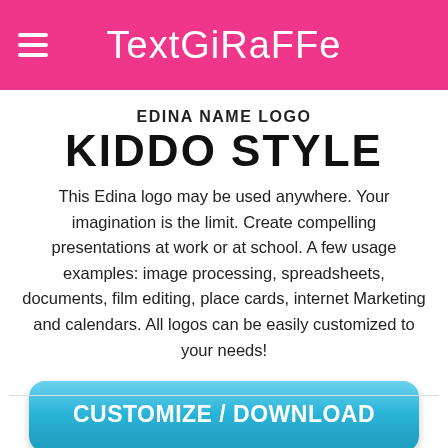TextGiraffe
EDINA NAME LOGO
KIDDO STYLE
This Edina logo may be used anywhere. Your imagination is the limit. Create compelling presentations at work or at school. A few usage examples: image processing, spreadsheets, documents, film editing, place cards, internet Marketing and calendars. All logos can be easily customized to your needs!
[Figure (other): Blue rounded button labeled CUSTOMIZE / DOWNLOAD]